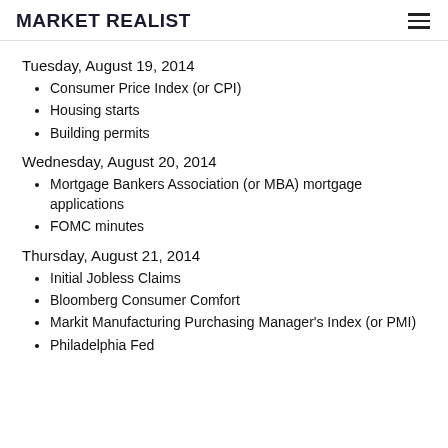MARKET REALIST
Tuesday, August 19, 2014
Consumer Price Index (or CPI)
Housing starts
Building permits
Wednesday, August 20, 2014
Mortgage Bankers Association (or MBA) mortgage applications
FOMC minutes
Thursday, August 21, 2014
Initial Jobless Claims
Bloomberg Consumer Comfort
Markit Manufacturing Purchasing Manager's Index (or PMI)
Philadelphia Fed